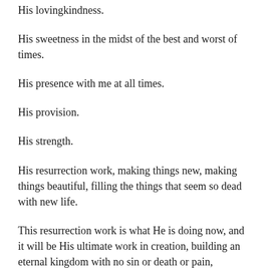His lovingkindness.
His sweetness in the midst of the best and worst of times.
His presence with me at all times.
His provision.
His strength.
His resurrection work, making things new, making things beautiful, filling the things that seem so dead with new life.
This resurrection work is what He is doing now, and it will be His ultimate work in creation, building an eternal kingdom with no sin or death or pain, transforming all that is dead in this world